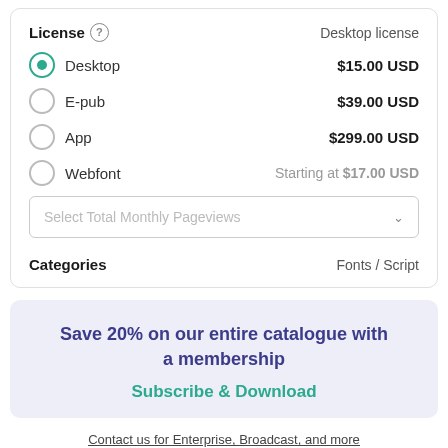License ? Desktop license
Desktop $15.00 USD
E-pub $39.00 USD
App $299.00 USD
Webfont Starting at $17.00 USD
Select Total Monthly Pageviews
Categories Fonts / Script
Save 20% on our entire catalogue with a membership
Subscribe & Download
Contact us for Enterprise, Broadcast, and more